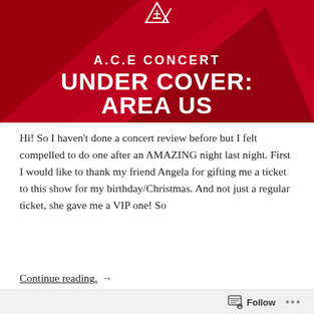[Figure (illustration): A.C.E Concert Under Cover: Area US promotional banner with red background, geometric triangle shapes, a logo icon, and bold white text.]
Hi! So I haven't done a concert review before but I felt compelled to do one after an AMAZING night last night. First I would like to thank my friend Angela for gifting me a ticket to this show for my birthday/Christmas. And not just a regular ticket, she gave me a VIP one! So
Continue reading. →
Unbothered Unnies  December 9, 2019  OpEds  ACE, concert, lazy unnie  Leave a comment  Follow ...